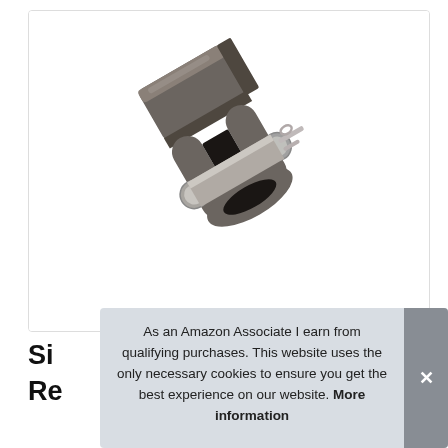[Figure (photo): A steel clevis / jaw end connector with a pin and cotter pin, shown on white background. The hardware piece is cast iron/steel, dark gray, with a cylindrical pin through the jaw and a small cotter pin securing it.]
Si
Re
As an Amazon Associate I earn from qualifying purchases. This website uses the only necessary cookies to ensure you get the best experience on our website. More information